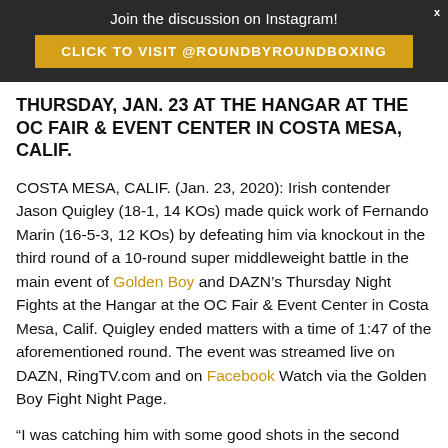Join the discussion on Instagram!
CLICK TO VISIT @ROUNDBYROUNDBOXING
THURSDAY, JAN. 23 AT THE HANGAR AT THE OC FAIR & EVENT CENTER IN COSTA MESA, CALIF.
COSTA MESA, CALIF. (Jan. 23, 2020): Irish contender Jason Quigley (18-1, 14 KOs) made quick work of Fernando Marin (16-5-3, 12 KOs) by defeating him via knockout in the third round of a 10-round super middleweight battle in the main event of Golden Boy and DAZN’s Thursday Night Fights at the Hangar at the OC Fair & Event Center in Costa Mesa, Calif. Quigley ended matters with a time of 1:47 of the aforementioned round. The event was streamed live on DAZN, RingTV.com and on Facebook Watch via the Golden Boy Fight Night Page.
“I was catching him with some good shots in the second round,” said Jason Quigley. “He’s got a hard head; I’ll tell you